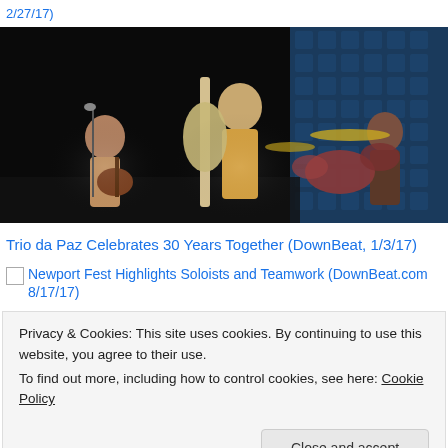2/27/17)
[Figure (photo): Jazz trio performing on stage: guitarist on left, double bass player in center wearing yellow outfit, drummer on right, with blue acoustic foam wall in background]
Trio da Paz Celebrates 30 Years Together (DownBeat, 1/3/17)
Newport Fest Highlights Soloists and Teamwork (DownBeat.com 8/17/17)
Privacy & Cookies: This site uses cookies. By continuing to use this website, you agree to their use.
To find out more, including how to control cookies, see here: Cookie Policy
Close and accept
[Figure (photo): Bottom portion of another jazz performance photo, partially visible]